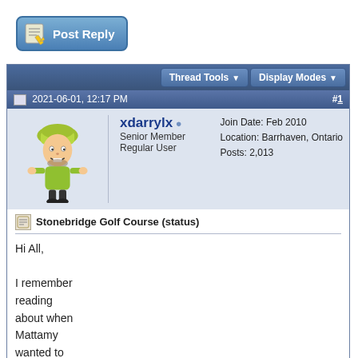[Figure (other): Post Reply button with pencil/paper icon]
Thread Tools  Display Modes
2021-06-01, 12:17 PM  #1
[Figure (illustration): Forum user avatar: cartoon character in green outfit with yellow/green hat]
xdarrylx
Senior Member
Regular User
Join Date: Feb 2010
Location: Barrhaven, Ontario
Posts: 2,013
Stonebridge Golf Course (status)
Hi All,

I remember reading about when Mattamy wanted to tear up some of the golf course and add in some more homes and folks were